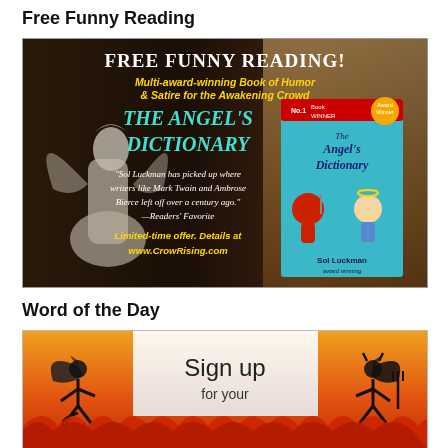Free Funny Reading
[Figure (illustration): Advertisement banner for 'The Angel's Dictionary' by Sol Luckman. Dark background with angel statue on left. Text reads: FREE FUNNY READING! Multi-award-winning Book of Humor & Satire for the Awakening Crowd. THE ANGEL'S DICTIONARY. Quote: Sol Luckman has picked up where writers like Mark Twain and Ambrose Bierce left off over a century ago. —Readers' Favorite. Limited-time offer. Details at www.CrowRising.com. Book cover shown on right.]
Word of the Day
[Figure (illustration): Sign up banner for Word of the Day. Orange/fire background with angel and devil stick figure icons on left and right. Text: Sign up for your [WORD OF THE DAY - partially cut off]]